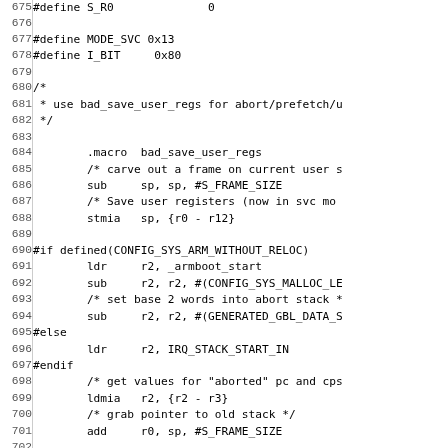Source code listing lines 675-704, ARM assembly/C preprocessor code including #define S_R0, MODE_SVC, I_BIT, bad_save_user_regs macro, conditional CONFIG_SYS_ARM_WITHOUT_RELOC block, and register operations.